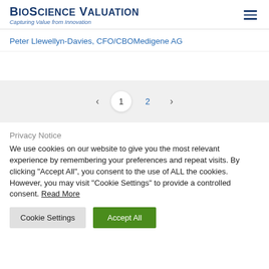BioScience Valuation — Capturing Value from Innovation
Peter Llewellyn-Davies, CFO/CBOMedigene AG
< 1 2 >
Privacy Notice
We use cookies on our website to give you the most relevant experience by remembering your preferences and repeat visits. By clicking "Accept All", you consent to the use of ALL the cookies. However, you may visit "Cookie Settings" to provide a controlled consent. Read More
Cookie Settings   Accept All